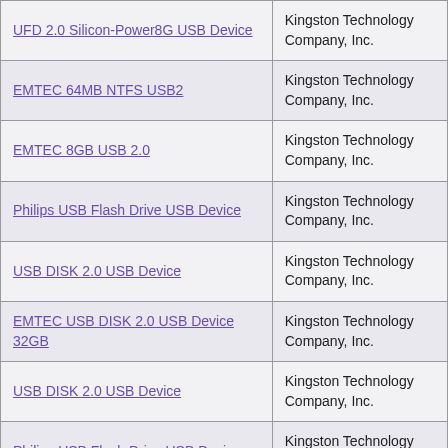| Device Name | Manufacturer |
| --- | --- |
| UFD 2.0 Silicon-Power8G USB Device | Kingston Technology Company, Inc. |
| EMTEC 64MB NTFS USB2 | Kingston Technology Company, Inc. |
| EMTEC 8GB USB 2.0 | Kingston Technology Company, Inc. |
| Philips USB Flash Drive USB Device | Kingston Technology Company, Inc. |
| USB DISK 2.0 USB Device | Kingston Technology Company, Inc. |
| EMTEC USB DISK 2.0 USB Device 32GB | Kingston Technology Company, Inc. |
| USB DISK 2.0 USB Device | Kingston Technology Company, Inc. |
| Philips USB Flash Drive USB Device | Kingston Technology Company, Inc. |
| Mecer16GB | Kingston Technology Company, Inc. |
| UFD 2.0 Silicon-Power16G USB Device | Kingston Technology Company, Inc. |
| (partial row) | Kingston Technology Company... |